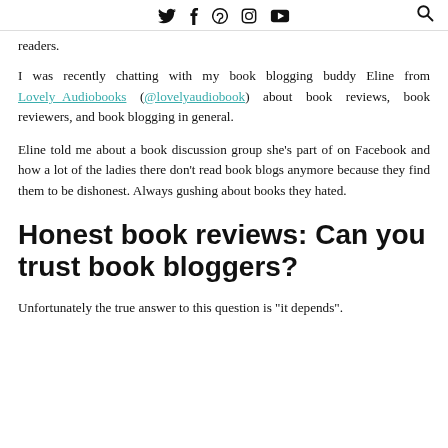Twitter Facebook Pinterest Instagram YouTube [search]
readers.
I was recently chatting with my book blogging buddy Eline from Lovely_Audiobooks (@lovelyaudiobook) about book reviews, book reviewers, and book blogging in general.
Eline told me about a book discussion group she's part of on Facebook and how a lot of the ladies there don't read book blogs anymore because they find them to be dishonest. Always gushing about books they hated.
Honest book reviews: Can you trust book bloggers?
Unfortunately the true answer to this question is "it depends"